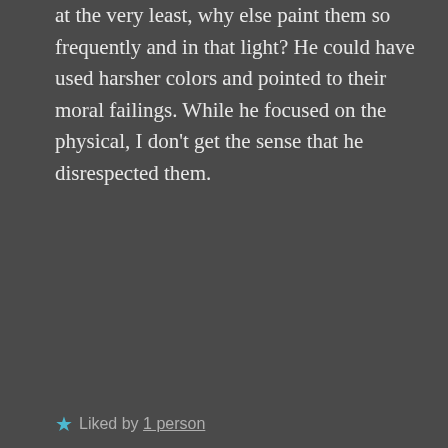at the very least, why else paint them so frequently and in that light? He could have used harsher colors and pointed to their moral failings. While he focused on the physical, I don't get the sense that he disrespected them.
Liked by 1 person
[Figure (photo): Avatar photo of Eric Wayne - a man with colorful artistic background]
ERIC WAYNE says: March 15, 2018 at 3:29 pm
I like your stance. I do think the misanthrope thing is a bit of sensationalism. Perhaps it's intended to deflect the idea that he's